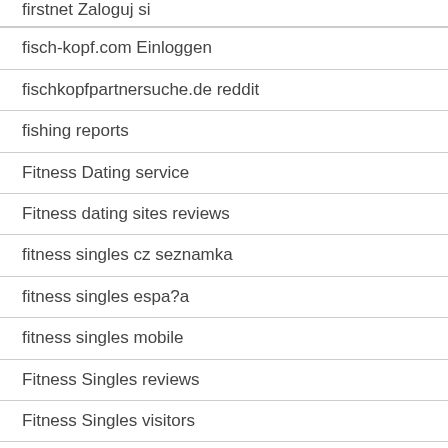firstnet Zaloguj si
fisch-kopf.com Einloggen
fischkopfpartnersuche.de reddit
fishing reports
Fitness Dating service
Fitness dating sites reviews
fitness singles cz seznamka
fitness singles espa?a
fitness singles mobile
Fitness Singles reviews
Fitness Singles visitors
FitnessSingles profile examples
Fling kritik
fling visit